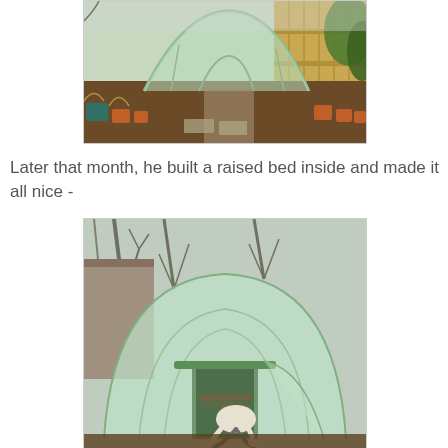[Figure (photo): A polytunnel/greenhouse in a garden with brown soil, terracotta plant pots, a wooden fence, and winter plants visible.]
Later that month, he built a raised bed inside and made it all nice -
[Figure (photo): A person bending down inside a polytunnel greenhouse, working on a raised bed. Bare trees visible in background.]